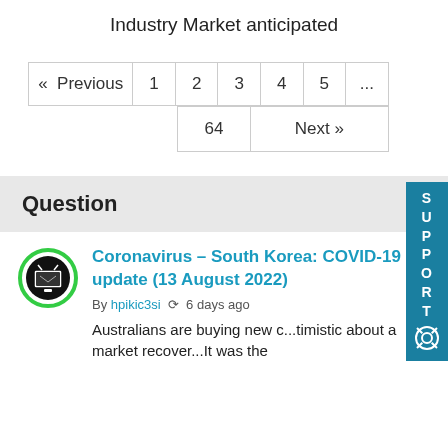Industry Market anticipated
« Previous  1  2  3  4  5  ...  64  Next »
Question
[Figure (logo): Circular avatar/logo with a TV icon inside, green border]
Coronavirus – South Korea: COVID-19 update (13 August 2022)
By hpikic3si  6 days ago
Australians are buying new c...timistic about a market recover...It was the